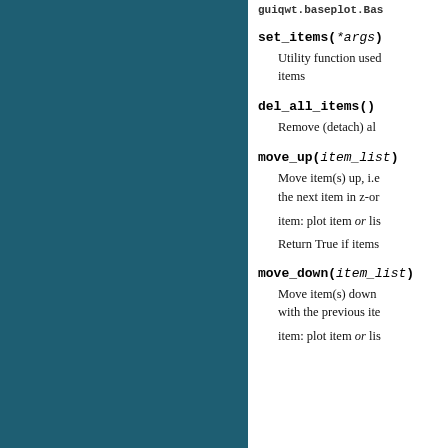guiqwt.baseplot.Bas
set_items(*args)
Utility function used
items
del_all_items()
Remove (detach) al
move_up(item_list)
Move item(s) up, i.e
the next item in z-or
item: plot item or lis
Return True if items
move_down(item_list)
Move item(s) down
with the previous ite
item: plot item or lis